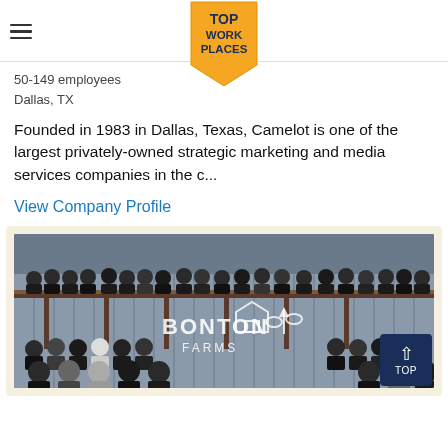TOP WORK PLACES
50-149 employees
Dallas, TX
Founded in 1983 in Dallas, Texas, Camelot is one of the largest privately-owned strategic marketing and media services companies in the c...
View Company Profile
[Figure (photo): Group photo of company employees at Bonton Farms, a rustic outdoor venue with a corrugated metal wall. Employees are arranged on two levels — upper balcony/scaffolding and ground level — with a Bonton Farms logo on the wall behind them.]